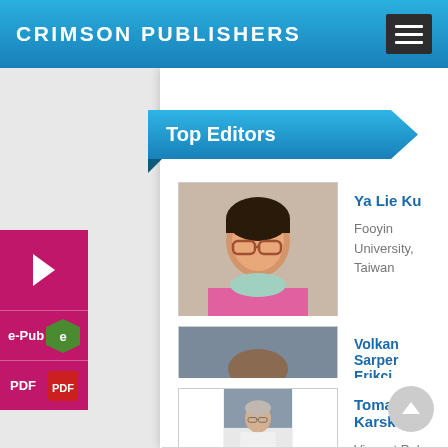CRIMSON PUBLISHERS
Top Editors
Ya Lie Ku
Fooyin University, Taiwan
[Figure (photo): Portrait photo of Ya Lie Ku]
Volkan Sarper Erikci
Saglik Bilimleri University, Turkey
[Figure (photo): Portrait photo of Volkan Sarper Erikci]
Tomasz Karski
Vincent Pol University, Poland
[Figure (photo): Portrait photo of Tomasz Karski]